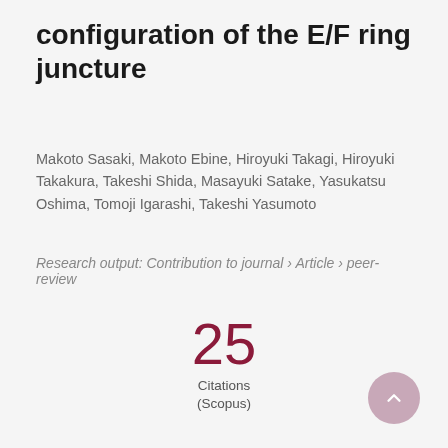configuration of the E/F ring juncture
Makoto Sasaki, Makoto Ebine, Hiroyuki Takagi, Hiroyuki Takakura, Takeshi Shida, Masayuki Satake, Yasukatsu Oshima, Tomoji Igarashi, Takeshi Yasumoto
Research output: Contribution to journal › Article › peer-review
25 Citations (Scopus)